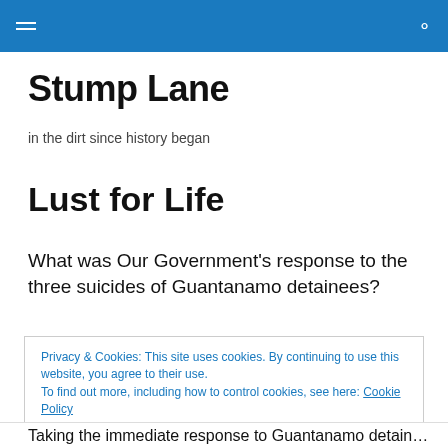Stump Lane [navigation bar with hamburger menu and search icon]
Stump Lane
in the dirt since history began
Lust for Life
What was Our Government's response to the three suicides of Guantanamo detainees?
Privacy & Cookies: This site uses cookies. By continuing to use this website, you agree to their use.
To find out more, including how to control cookies, see here: Cookie Policy
Close and accept